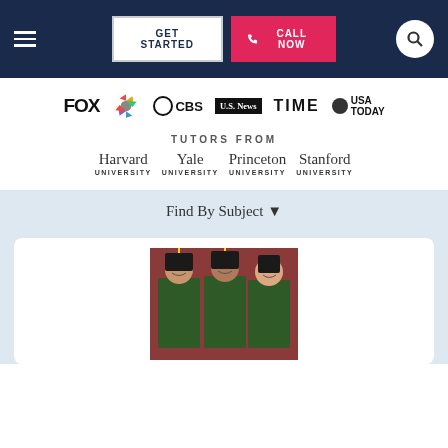Navigation bar with hamburger menu, GET STARTED and CALL NOW buttons, and search icon
[Figure (logo): Media logos: FOX, NBC, CBS, U.S. News, TIME, USA TODAY]
TUTORS FROM
[Figure (logo): University logos: Harvard University, Yale University, Princeton University, Stanford University]
Find By Subject ▼
[Figure (photo): Three graduates in caps and gowns smiling]